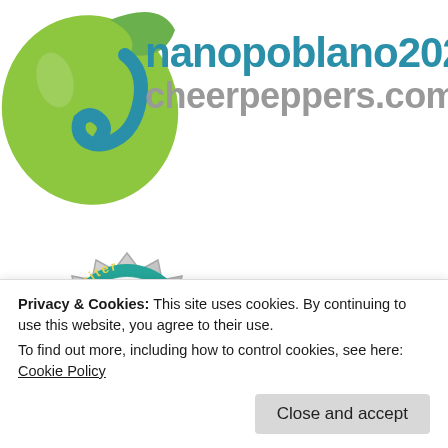[Figure (logo): NanoPoblano 2020 cheerpeppers.com logo with a green chili pepper shape and teal/blue text]
[Figure (logo): A badge/seal with teal circular band and metallic spiky border showing partial text 'ahwriter']
Privacy & Cookies: This site uses cookies. By continuing to use this website, you agree to their use.
To find out more, including how to control cookies, see here: Cookie Policy
Close and accept